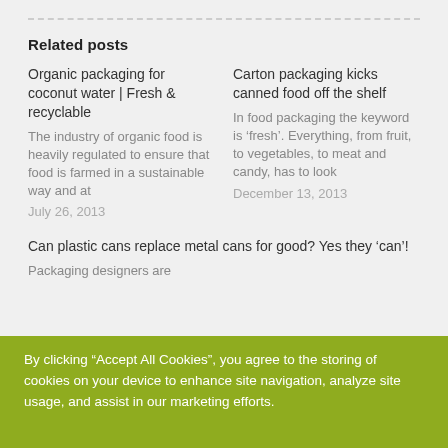Related posts
Organic packaging for coconut water | Fresh & recyclable
The industry of organic food is heavily regulated to ensure that food is farmed in a sustainable way and at
July 26, 2013
Carton packaging kicks canned food off the shelf
In food packaging the keyword is ‘fresh’. Everything, from fruit, to vegetables, to meat and candy, has to look
December 13, 2013
Can plastic cans replace metal cans for good? Yes they ‘can’!
Packaging designers are
By clicking “Accept All Cookies”, you agree to the storing of cookies on your device to enhance site navigation, analyze site usage, and assist in our marketing efforts.